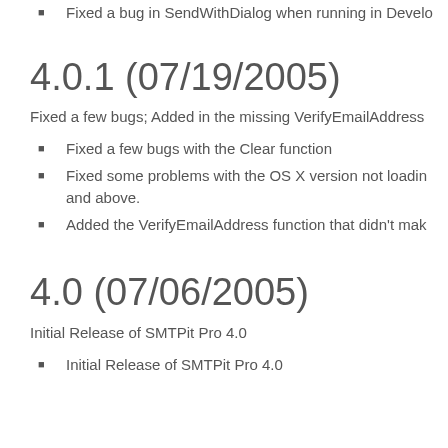Fixed a bug in SendWithDialog when running in Devel...
4.0.1 (07/19/2005)
Fixed a few bugs; Added in the missing VerifyEmailAddress...
Fixed a few bugs with the Clear function
Fixed some problems with the OS X version not loading... and above.
Added the VerifyEmailAddress function that didn't mak...
4.0 (07/06/2005)
Initial Release of SMTPit Pro 4.0
Initial Release of SMTPit Pro 4.0